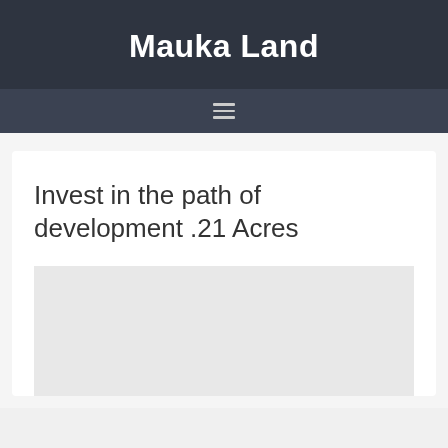Mauka Land
≡
Invest in the path of development .21 Acres
[Figure (photo): Blank/placeholder image area below the article title]